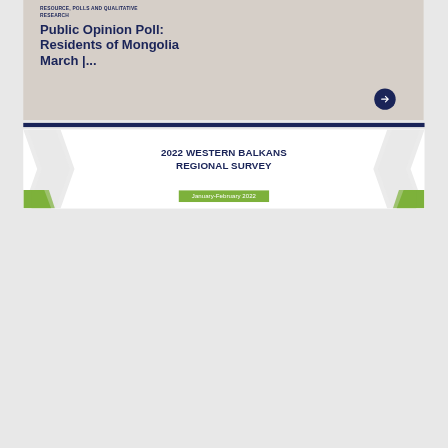RESOURCE, POLLS AND QUALITATIVE RESEARCH
Public Opinion Poll: Residents of Mongolia March |...
[Figure (illustration): Dark navy circular arrow button pointing right]
[Figure (illustration): White card with decorative grey chevron shapes on left and right sides, containing the title 2022 WESTERN BALKANS REGIONAL SURVEY and a green date badge]
2022 WESTERN BALKANS REGIONAL SURVEY
January-February 2022